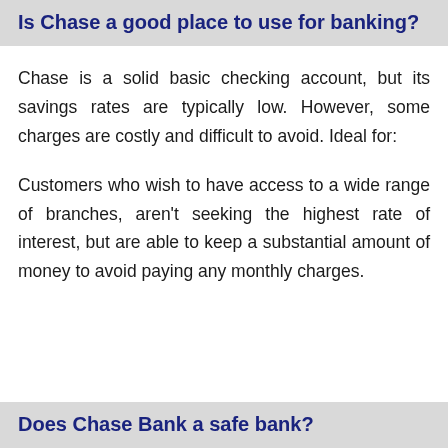Is Chase a good place to use for banking?
Chase is a solid basic checking account, but its savings rates are typically low. However, some charges are costly and difficult to avoid. Ideal for:
Customers who wish to have access to a wide range of branches, aren't seeking the highest rate of interest, but are able to keep a substantial amount of money to avoid paying any monthly charges.
Does Chase Bank a safe bank?